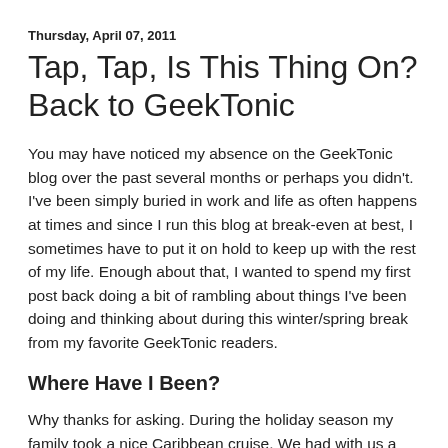Thursday, April 07, 2011
Tap, Tap, Is This Thing On? Back to GeekTonic
You may have noticed my absence on the GeekTonic blog over the past several months or perhaps you didn't.  I've been simply buried in work and life as often happens at times and since I run this blog at break-even at best, I sometimes have to put it on hold to keep up with the rest of my life.  Enough about that, I wanted to spend my first post back doing a bit of rambling about things I've been doing and thinking about during this winter/spring break from my favorite GeekTonic readers.
Where Have I Been?
Why thanks for asking.  During the holiday season my family took a nice Caribbean cruise.  We had with us a little tech including the iPad, my Verizon MiFi, the iPhone 4 (gotta stay